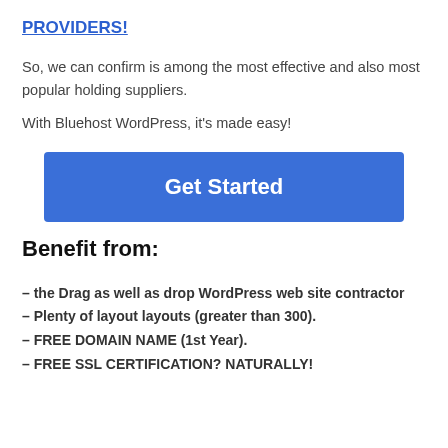PROVIDERS!
So, we can confirm is among the most effective and also most popular holding suppliers.
With Bluehost WordPress, it's made easy!
[Figure (other): Blue 'Get Started' button]
Benefit from:
– the Drag as well as drop WordPress web site contractor
– Plenty of layout layouts (greater than 300).
– FREE DOMAIN NAME (1st Year).
– FREE SSL CERTIFICATION? NATURALLY!